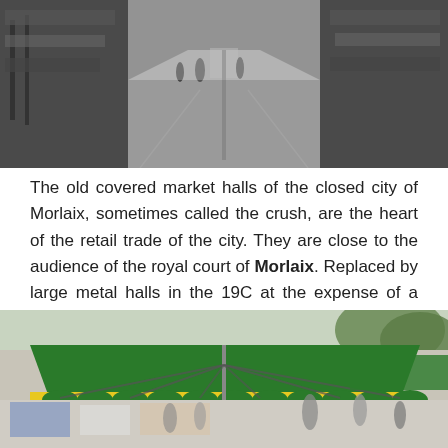[Figure (photo): Market hall corridor viewed from center, stalls on both sides, overcast daylight, pedestrians visible in distance]
The old covered market halls of the closed city of Morlaix, sometimes called the crush, are the heart of the retail trade of the city. They are close to the audience of the royal court of Morlaix. Replaced by large metal halls in the 19C at the expense of a whole block, then razed in the 20C to create a parking, their location still hosts today's food market on Saturday morning.
[Figure (photo): Outdoor Saturday food market in Morlaix with large green and yellow market umbrellas/canopies, stalls and people visible underneath]